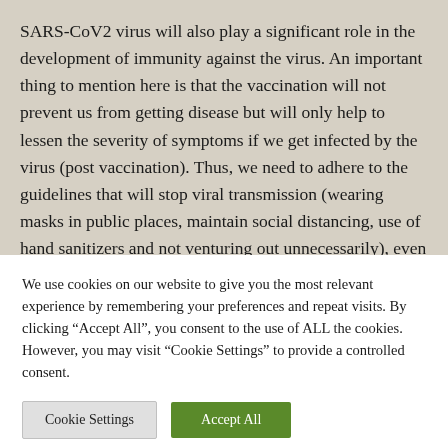SARS-CoV2 virus will also play a significant role in the development of immunity against the virus. An important thing to mention here is that the vaccination will not prevent us from getting disease but will only help to lessen the severity of symptoms if we get infected by the virus (post vaccination). Thus, we need to adhere to the guidelines that will stop viral transmission (wearing masks in public places, maintain social distancing, use of hand sanitizers and not venturing out unnecessarily), even though we have been vaccinated. till the virus completely
We use cookies on our website to give you the most relevant experience by remembering your preferences and repeat visits. By clicking “Accept All”, you consent to the use of ALL the cookies. However, you may visit “Cookie Settings” to provide a controlled consent.